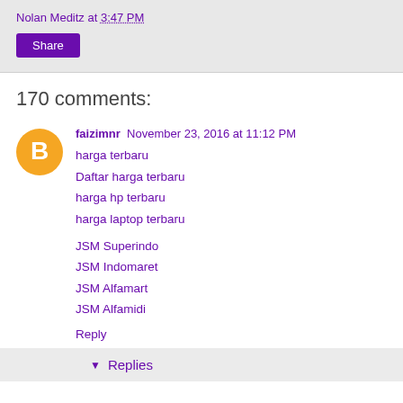Nolan Meditz at 3:47 PM
Share
170 comments:
[Figure (illustration): Blogger user avatar: orange circle with white letter B]
faizimnr  November 23, 2016 at 11:12 PM
harga terbaru
Daftar harga terbaru
harga hp terbaru
harga laptop terbaru
JSM Superindo
JSM Indomaret
JSM Alfamart
JSM Alfamidi
Reply
▾ Replies